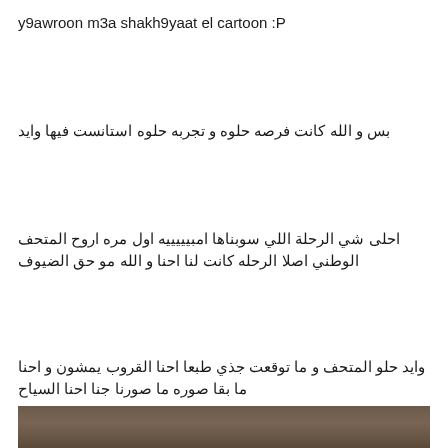y9awroon m3a shakh9yaat el cartoon :P
بس و الله كانت فرصه حلوه و تجربه حلوه استانست فيها وايد
احلى شي الرحلة اللي سوبناها امبيييييه اول مره اروح المتحف الوطني اصلا الرحله كانت لنا احنا و الله مو حق الضيوف
وايد حلو المتحف و ما توقعت جذي طبعا احنا القروب يمشون و احنا ما بقا صوره ما صورنا جنا احنا السياح
[Figure (photo): Partial photo strip at the bottom of the page showing an indoor scene]